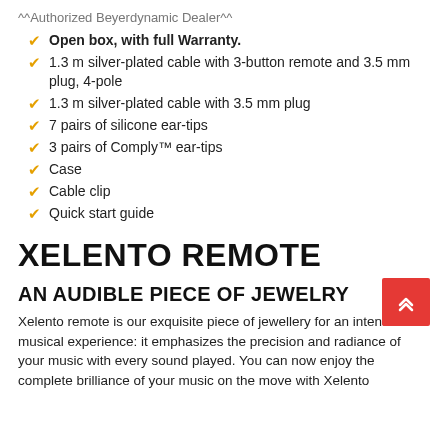^^Authorized Beyerdynamic Dealer^^
Open box, with full Warranty.
1.3 m silver-plated cable with 3-button remote and 3.5 mm plug, 4-pole
1.3 m silver-plated cable with 3.5 mm plug
7 pairs of silicone ear-tips
3 pairs of Comply™ ear-tips
Case
Cable clip
Quick start guide
XELENTO REMOTE
AN AUDIBLE PIECE OF JEWELRY
Xelento remote is our exquisite piece of jewellery for an intense musical experience: it emphasizes the precision and radiance of your music with every sound played. You can now enjoy the complete brilliance of your music on the move with Xelento